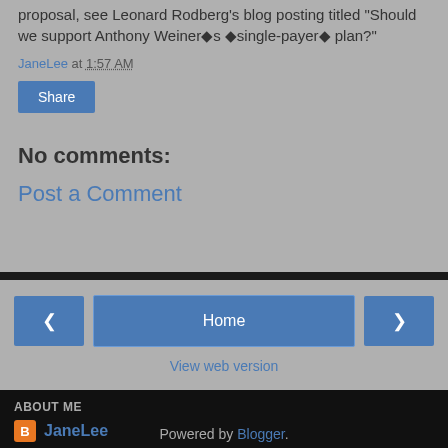proposal, see Leonard Rodberg's blog posting titled "Should we support Anthony Weiner�s �single-payer� plan?"
JaneLee at 1:57 AM
Share
No comments:
Post a Comment
< Home >
View web version
ABOUT ME
JaneLee
View my complete profile
Powered by Blogger.